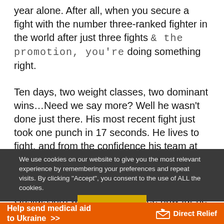year alone. After all, when you secure a fight with the number three-ranked fighter in the world after just three fights & the promotion, you're doing something right.
Ten days, two weight classes, two dominant wins…Need we say more? Well he wasn't done just there. His most recent fight just took one punch in 17 seconds. He lives to fight, and from the confidence his team at Allstars in Stockholm has in him, going further than anyone from that camp, (including the likes of Alexander Gustafsson) we can't wait to see how far he goes in 2021.
We use cookies on our website to give you the most relevant experience by remembering your preferences and repeat visits. By clicking "Accept", you consent to the use of ALL the cookies.
[Figure (infographic): Orange advertisement banner for Direct Relief: 'Help send medical aid to Ukraine >>' with Direct Relief logo (white gift box icon and wordmark)]